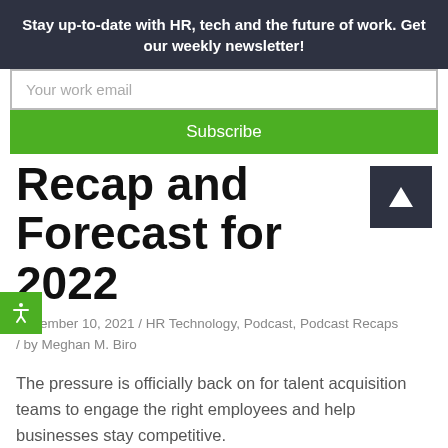Stay up-to-date with HR, tech and the future of work. Get our weekly newsletter!
Your work email
Subscribe
Recap and Forecast for 2022
December 10, 2021 / HR Technology, Podcast, Podcast Recaps / by Meghan M. Biro
The pressure is officially back on for talent acquisition teams to engage the right employees and help businesses stay competitive.
Early on in the pandemic, millions of workers were laid off in a race to downsize. Economists predicted a grim